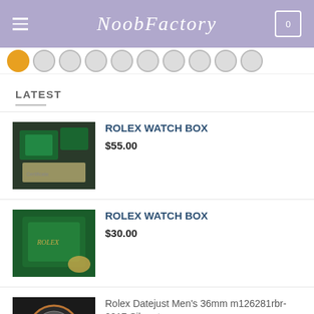NoobFactory
[Figure (other): Row of color filter swatches, first one orange/active, rest gray]
LATEST
[Figure (photo): Rolex watch box product image - dark background with green boxes]
ROLEX WATCH BOX
$55.00
[Figure (photo): Rolex watch box product image - green Rolex branded box]
ROLEX WATCH BOX
$30.00
[Figure (photo): Rolex Datejust watch product image - silver and rose gold bracelet watch]
Rolex Datejust Men's 36mm m126281rbr-0017 Silver-tone
$139.00 – $1,099.00